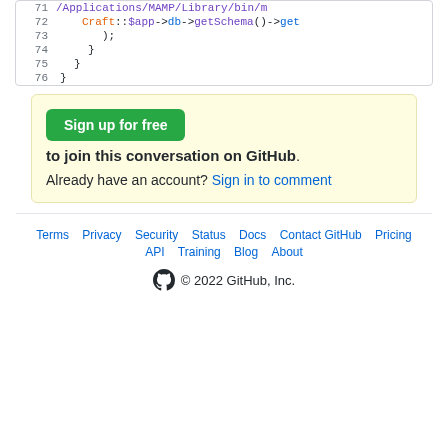[Figure (screenshot): Code block showing lines 71-76 of PHP/Craft CMS code with syntax highlighting. Line 71: /Applications/MAMP/Library/bin/m... Line 72: Craft::$app->db->getSchema()->get (truncated). Line 73: );  Line 74: }  Line 75: }  Line 76: }]
Sign up for free to join this conversation on GitHub. Already have an account? Sign in to comment
Terms · Privacy · Security · Status · Docs · Contact GitHub · Pricing · API · Training · Blog · About · © 2022 GitHub, Inc.